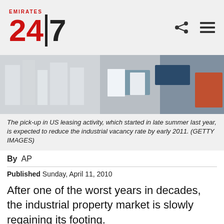Emirates 24|7
[Figure (photo): Photo of industrial/commercial real estate signage and buildings]
The pick-up in US leasing activity, which started in late summer last year, is expected to reduce the industrial vacancy rate by early 2011. (GETTY IMAGES)
By  AP
Published Sunday, April 11, 2010
After one of the worst years in decades, the industrial property market is slowly regaining its footing.
mpanies are beginning to stock up on goods aga